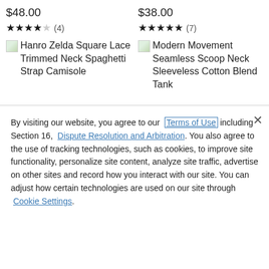$48.00
★★★★☆ (4)
[Figure (other): Broken image placeholder for Hanro Zelda Square Lace Trimmed Neck Spaghetti Strap Camisole]
Hanro Zelda Square Lace Trimmed Neck Spaghetti Strap Camisole
$38.00
★★★★★ (7)
[Figure (other): Broken image placeholder for Modern Movement Seamless Scoop Neck Sleeveless Cotton Blend Tank]
Modern Movement Seamless Scoop Neck Sleeveless Cotton Blend Tank
By visiting our website, you agree to our Terms of Use including Section 16, Dispute Resolution and Arbitration. You also agree to the use of tracking technologies, such as cookies, to improve site functionality, personalize site content, analyze site traffic, advertise on other sites and record how you interact with our site. You can adjust how certain technologies are used on our site through Cookie Settings.